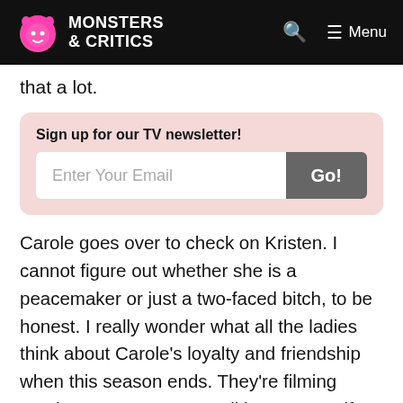Monsters & Critics — Search — Menu
that a lot.
Sign up for our TV newsletter! Enter Your Email Go!
Carole goes over to check on Kristen. I cannot figure out whether she is a peacemaker or just a two-faced bitch, to be honest. I really wonder what all the ladies think about Carole’s loyalty and friendship when this season ends. They’re filming another one – I guess we’ll have to see if they’re all dumb enough to assume she has their backs then.